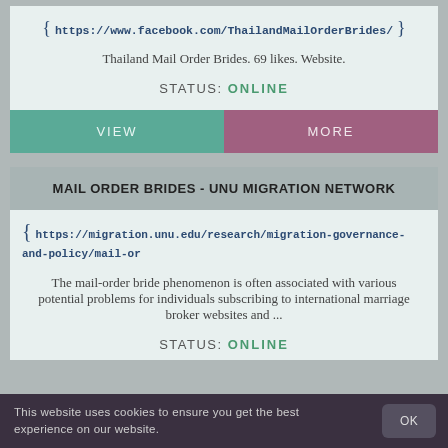https://www.facebook.com/ThailandMailOrderBrides/
Thailand Mail Order Brides. 69 likes. Website.
STATUS: ONLINE
VIEW
MORE
MAIL ORDER BRIDES - UNU MIGRATION NETWORK
https://migration.unu.edu/research/migration-governance-and-policy/mail-or
The mail-order bride phenomenon is often associated with various potential problems for individuals subscribing to international marriage broker websites and ...
STATUS: ONLINE
This website uses cookies to ensure you get the best experience on our website.